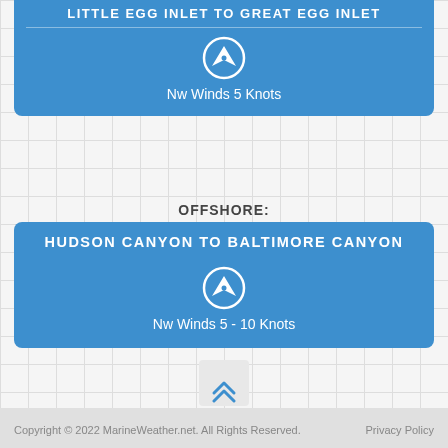LITTLE EGG INLET TO GREAT EGG INLET
[Figure (infographic): Wind direction arrow icon in circle, pointing right-downward]
Nw Winds 5 Knots
OFFSHORE:
HUDSON CANYON TO BALTIMORE CANYON
[Figure (infographic): Wind direction arrow icon in circle, pointing right-downward]
Nw Winds 5 - 10 Knots
[Figure (other): Scroll to top button with double chevron up arrow]
Copyright © 2022 MarineWeather.net. All Rights Reserved.    Privacy Policy